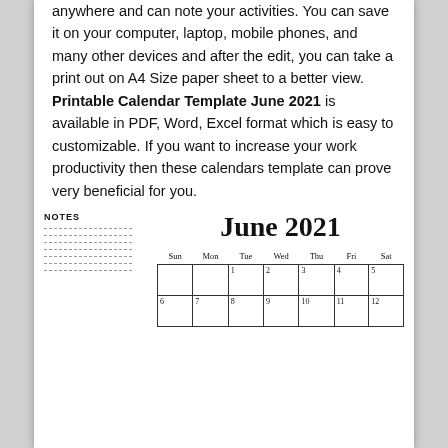anywhere and can note your activities. You can save it on your computer, laptop, mobile phones, and many other devices and after the edit, you can take a print out on A4 Size paper sheet to a better view. Printable Calendar Template June 2021 is available in PDF, Word, Excel format which is easy to customizable. If you want to increase your work productivity then these calendars template can prove very beneficial for you.
[Figure (other): June 2021 calendar with notes section. Includes day headers Sun, Mon, Tue, Wed, Thu, Fri, Sat and calendar grid showing days 1-12 visible.]